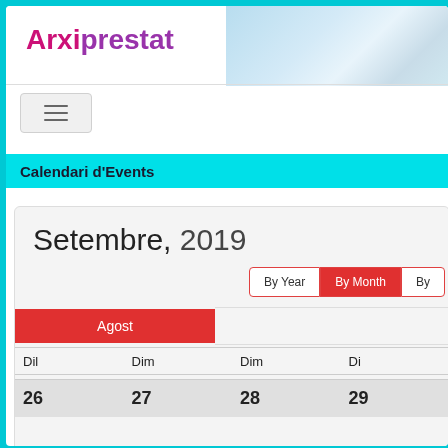Arxiprestat
Calendari d'Events
Setembre, 2019
By Year | By Month | By
Agost
| Dil | Dim | Dim | Di |
| --- | --- | --- | --- |
| 26 | 27 | 28 | 29 |